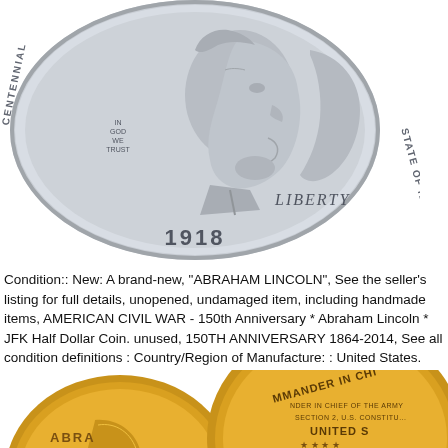[Figure (photo): Silver coin showing Abraham Lincoln profile bust, dated 1918, with text CENTENNIAL, IN GOD WE TRUST, LIBERTY, STATE OF ILLINOIS]
Condition:: New: A brand-new, "ABRAHAM LINCOLN", See the seller's listing for full details, unopened, undamaged item, including handmade items, AMERICAN CIVIL WAR - 150th Anniversary * Abraham Lincoln * JFK Half Dollar Coin. unused, 150TH ANNIVERSARY 1864-2014, See all condition definitions : Country/Region of Manufacture: : United States.
[Figure (photo): Two gold coins partially visible, one showing Abraham Lincoln profile (ABRA text visible), another showing COMMANDER IN CHIEF text with COMMANDER IN CHIEF OF THE ARMY, SECTION 2, U.S. CONSTITUTION, UNITED STATES text around the edge]